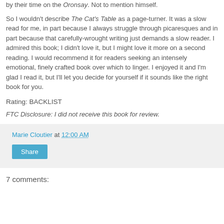by their time on the Oronsay. Not to mention himself.
So I wouldn't describe The Cat's Table as a page-turner. It was a slow read for me, in part because I always struggle through picaresques and in part because that carefully-wrought writing just demands a slow reader. I admired this book; I didn't love it, but I might love it more on a second reading. I would recommend it for readers seeking an intensely emotional, finely crafted book over which to linger. I enjoyed it and I'm glad I read it, but I'll let you decide for yourself if it sounds like the right book for you.
Rating: BACKLIST
FTC Disclosure: I did not receive this book for review.
Marie Cloutier at 12:00 AM
Share
7 comments: